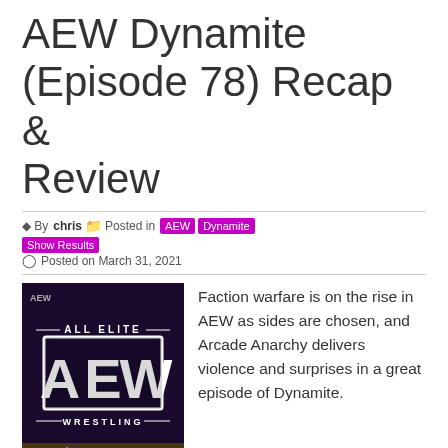AEW Dynamite (Episode 78) Recap & Review
By chris  Posted in AEW  Dynamite  Show Results  Posted on March 31, 2021
[Figure (photo): AEW All Elite Wrestling Dynamite logo image with gold glitter background]
Faction warfare is on the rise in AEW as sides are chosen, and Arcade Anarchy delivers violence and surprises in a great episode of Dynamite.
AEW Dark: Elevation (Episode 2) Recap &